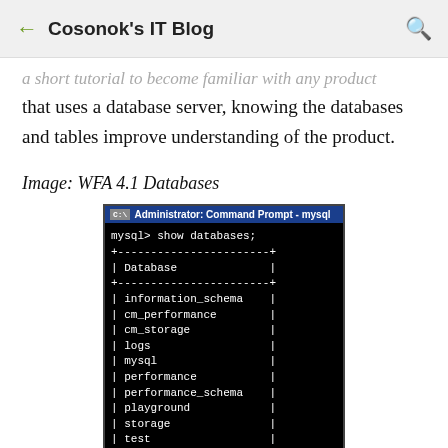Cosonok's IT Blog
...a short tutorial to become familiar with any product that uses a database server, knowing the databases and tables improve understanding of the product.
Image: WFA 4.1 Databases
[Figure (screenshot): Windows Command Prompt showing MySQL 'show databases;' command output listing databases: information_schema, cm_performance, cm_storage, logs, mysql, performance, performance_schema, playground, storage, test, tmp]